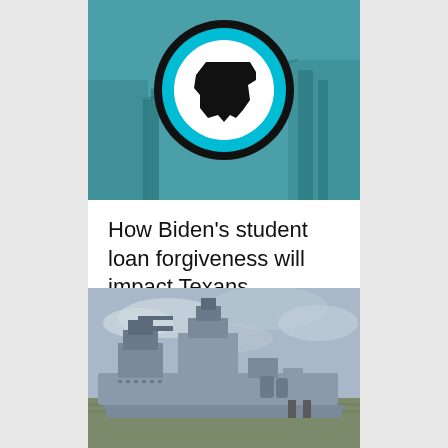[Figure (illustration): Texas Monthly-style logo: teal/blue background with a black circle containing a cyan ring and white Texas state silhouette in the center, over an industrial/bridge background]
How Biden’s student loan forgiveness will impact Texans
[Figure (photo): Photograph of a large gray battleship (appears to be the Battleship Texas) docked in murky water under a cloudy sky]